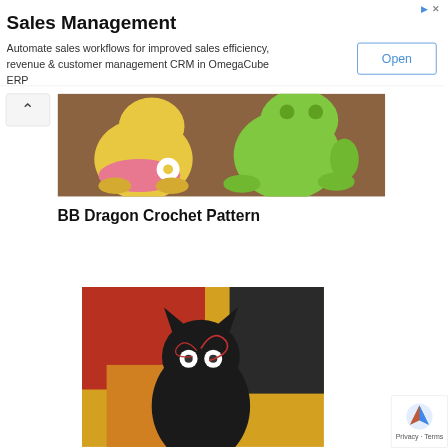[Figure (screenshot): Advertisement banner for Sales Management software. Title: 'Sales Management'. Body text: 'Automate sales workflows for improved sales efficiency, revenue & customer management CRM in OmegaCube ERP'. Button labeled 'Open' with blue border. Ad attribution icons top right.]
[Figure (photo): Two crocheted amigurumi figures on a wooden surface: a yellow character with a pink skirt holding a white flower, and a green frog-like character.]
BB Dragon Crochet Pattern
[Figure (photo): Crocheted black cat amigurumi (resembling Jiji from Kiki's Delivery Service) with large white eyes and red yarn, sitting on a yellow surface with a red background.]
[Figure (screenshot): Google privacy widget in bottom-right corner showing Google logo arrow icon with 'Privacy · Terms' text.]